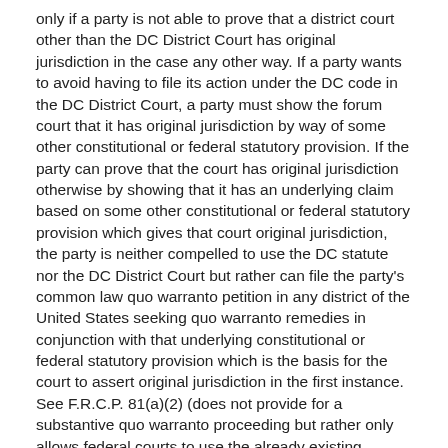only if a party is not able to prove that a district court other than the DC District Court has original jurisdiction in the case any other way. If a party wants to avoid having to file its action under the DC code in the DC District Court, a party must show the forum court that it has original jurisdiction by way of some other constitutional or federal statutory provision. If the party can prove that the court has original jurisdiction otherwise by showing that it has an underlying claim based on some other constitutional or federal statutory provision which gives that court original jurisdiction, the party is neither compelled to use the DC statute nor the DC District Court but rather can file the party's common law quo warranto petition in any district of the United States seeking quo warranto remedies in conjunction with that underlying constitutional or federal statutory provision which is the basis for the court to assert original jurisdiction in the first instance. See F.R.C.P. 81(a)(2) (does not provide for a substantive quo warranto proceeding but rather only allows federal courts to use the already existing common law quo warranto action); See also Ames v. State of Kansas ex rel. Johnston, 111 U.S. 449, 471-72 (1884) (holding that quo